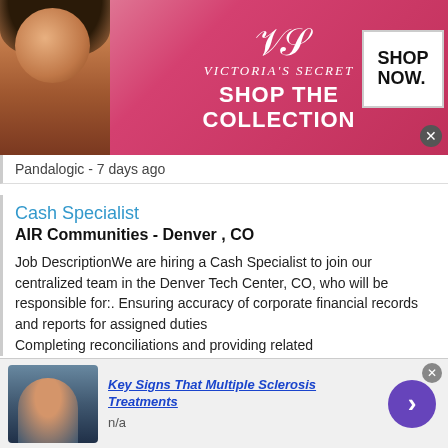[Figure (screenshot): Victoria's Secret advertisement banner with model, VS logo, 'SHOP THE COLLECTION' text, and 'SHOP NOW' button]
Pandalogic - 7 days ago
Cash Specialist
AIR Communities - Denver , CO
Job DescriptionWe are hiring a Cash Specialist to join our centralized team in the Denver Tech Center, CO, who will be responsible for:. Ensuring accuracy of corporate financial records and reports for assigned duties
Completing reconciliations and providing related
This site uses cookies and other similar technologies to provide site functionality, analyze traffic and usage, and
[Figure (screenshot): Bottom advertisement: Key Signs That Multiple Sclerosis Treatments, n/a, with arrow button]